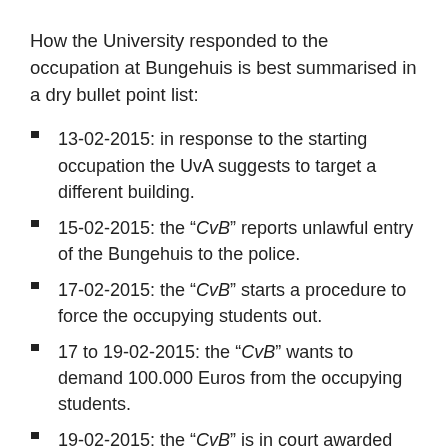How the University responded to the occupation at Bungehuis is best summarised in a dry bullet point list:
13-02-2015: in response to the starting occupation the UvA suggests to target a different building.
15-02-2015: the “CvB” reports unlawful entry of the Bungehuis to the police.
17-02-2015: the “CvB” starts a procedure to force the occupying students out.
17 to 19-02-2015: the “CvB” wants to demand 100.000 Euros from the occupying students.
19-02-2015: the “CvB” is in court awarded damages of 1000 to 2000 Euros per day.
23-02-2015: after the Amsterdam mayor Eberhard van der Laan invites the students and the “CvB” there is finally some direct communication between the